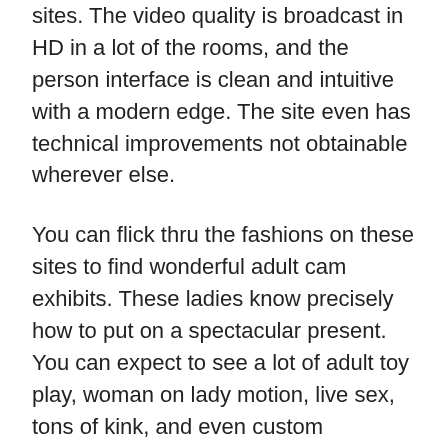sites. The video quality is broadcast in HD in a lot of the rooms, and the person interface is clean and intuitive with a modern edge. The site even has technical improvements not obtainable wherever else.
You can flick thru the fashions on these sites to find wonderful adult cam exhibits. These ladies know precisely how to put on a spectacular present. You can expect to see a lot of adult toy play, woman on lady motion, live sex, tons of kink, and even custom requests. Trust me, it's an enormous step up from pre-recorded movies, and a seriously good time. Slutroulette is an adult chat roulette for cam to cam sex with women. And the novice feeling you get when talking to random women right here is the main highlight.
In short, their randomness sparks consideration and you may discuss to strangers at fast rates. AnyWebcam is the first and still the best Free Amateur Live Webcam Chat that brings